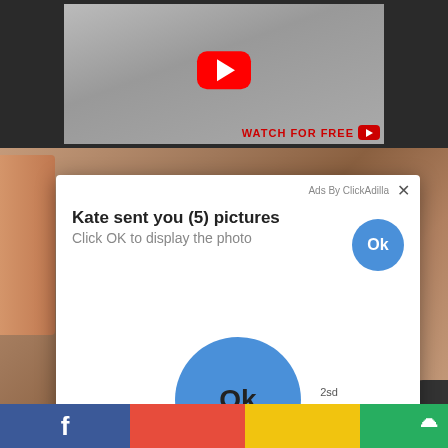[Figure (screenshot): Video thumbnail with YouTube play button and 'WATCH FOR FREE' text in red]
[Figure (screenshot): Background photo of skin/body]
[Figure (screenshot): Ad popup overlay: 'Ads By ClickAdilla' with X close button, title 'Kate sent you (5) pictures', subtitle 'Click OK to display the photo', small blue Ok button top right, large blue Ok button in center]
f  2sd